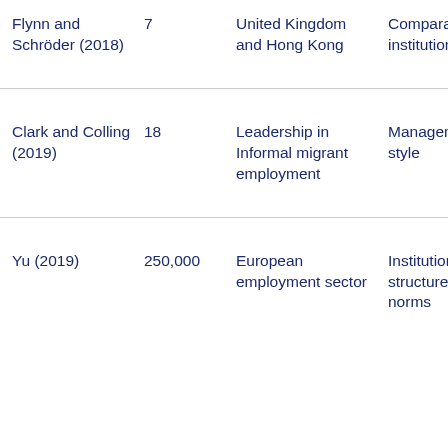| Flynn and Schröder (2018) | 7 | United Kingdom and Hong Kong | Comparative institutionalism | Path depen… |
| Clark and Colling (2019) | 18 | Leadership in Informal migrant employment | Management style | Emplo behav… |
| Yu (2019) | 250,000 | European employment sector | Institutional structures and norms | Accou of per projec… |